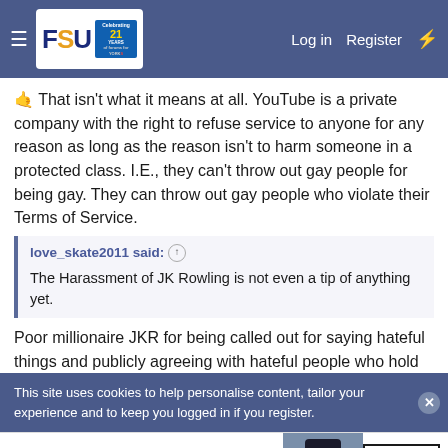FSU forum navigation bar with Log in, Register links
🤙 That isn't what it means at all. YouTube is a private company with the right to refuse service to anyone for any reason as long as the reason isn't to harm someone in a protected class. I.E., they can't throw out gay people for being gay. They can throw out gay people who violate their Terms of Service.
love_skate2011 said: ↑

The Harassment of JK Rowling is not even a tip of anything yet.
Poor millionaire JKR for being called out for saying hateful things and publicly agreeing with hateful people who hold
This site uses cookies to help personalise content, tailor your experience and to keep you logged in if you register.
[Figure (advertisement): Bloomingdale's advertisement: 'View Today's Top Deals!' with SHOP NOW > button and woman in hat photo]